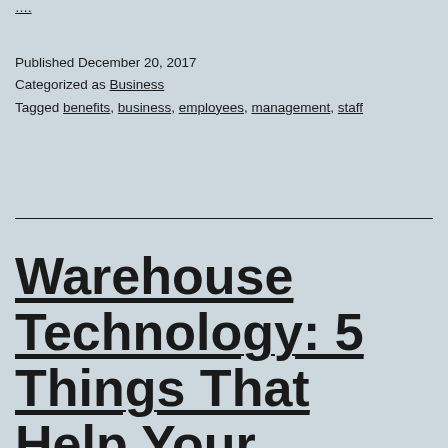Published December 20, 2017
Categorized as Business
Tagged benefits, business, employees, management, staff
Warehouse Technology: 5 Things That Help Your Business Operate